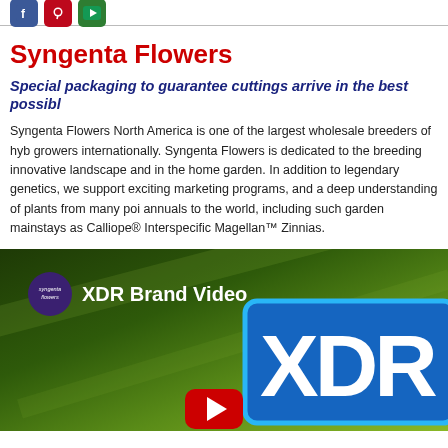Social media icons: Facebook, Pinterest, YouTube/green
Syngenta Flowers
Special packaging to guarantee cuttings arrive in the best possible
Syngenta Flowers North America is one of the largest wholesale breeders of hyb growers internationally. Syngenta Flowers is dedicated to the breeding innovative landscape and in the home garden. In addition to legendary genetics, we support exciting marketing programs, and a deep understanding of plants from many poi annuals to the world, including such garden mainstays as Calliope® Interspecific Magellan™ Zinnias.
[Figure (screenshot): Video thumbnail showing 'XDR Brand Video' with Syngenta Flowers logo circle, dark olive/green gradient background, large XDR text badge in blue, and YouTube play button at bottom.]